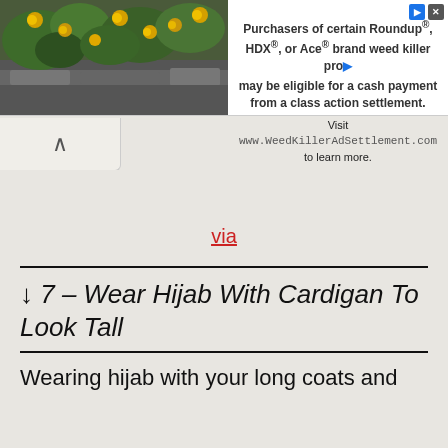[Figure (infographic): Advertisement banner with plant/flower image on left and text on right promoting WeedKillerAdSettlement.com for Roundup, HDX, or Ace brand weed killer class action settlement.]
via
↓ 7 – Wear Hijab With Cardigan To Look Tall
Wearing hijab with your long coats and